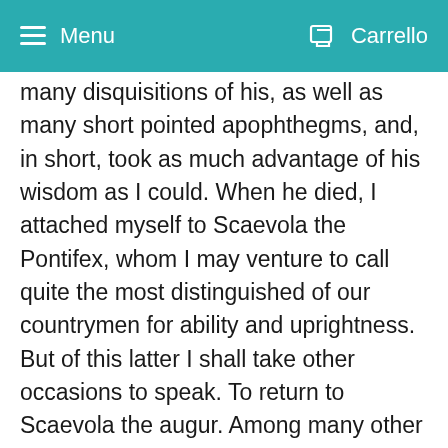Menu  Carrello
many disquisitions of his, as well as many short pointed apophthegms, and, in short, took as much advantage of his wisdom as I could. When he died, I attached myself to Scaevola the Pontifex, whom I may venture to call quite the most distinguished of our countrymen for ability and uprightness. But of this latter I shall take other occasions to speak. To return to Scaevola the augur. Among many other occasions I particularly remember one. He was sitting on a semicircular garden-bench, as was his custom, when I and a very few intimate friends were there, and he chanced to turn the conversation upon a subject which about that time was in many people's mouths. You must remember, Atticus, for you were very intimate with Publius Sulpicius, what expressions of